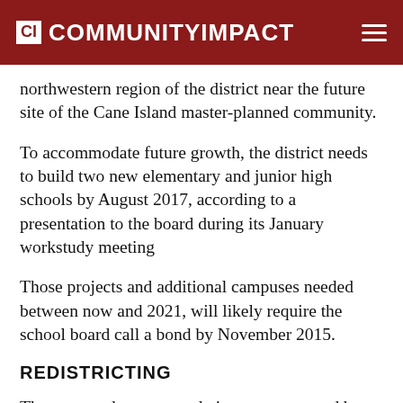CI COMMUNITYIMPACT
northwestern region of the district near the future site of the Cane Island master-planned community.
To accommodate future growth, the district needs to build two new elementary and junior high schools by August 2017, according to a presentation to the board during its January workstudy meeting
Those projects and additional campuses needed between now and 2021, will likely require the school board call a bond by November 2015.
REDISTRICTING
The proposed recommendation was approved by the Katy ISD Board of Trustees on January 21.